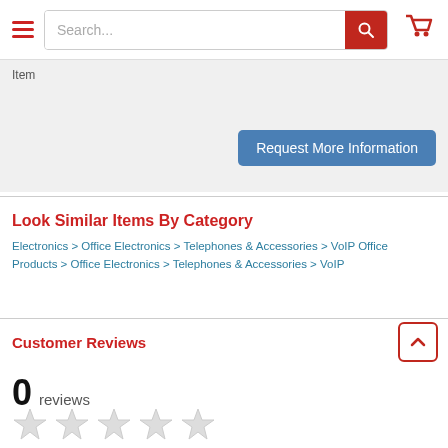[Figure (screenshot): Website navigation header with hamburger menu, search bar with red search button, and red shopping cart icon]
Item
Request More Information
Look Similar Items By Category
Electronics > Office Electronics > Telephones & Accessories > VoIP Office Products > Office Electronics > Telephones & Accessories > VoIP
Customer Reviews
0 reviews
[Figure (illustration): Five empty/grey star rating icons]